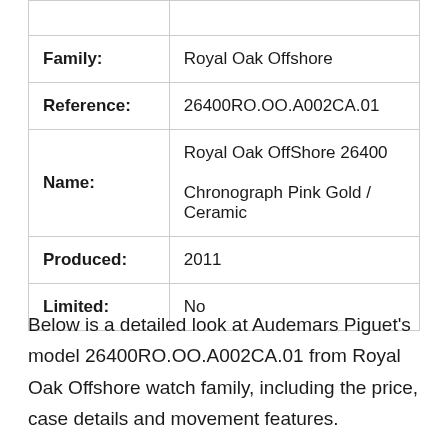| Family: | Royal Oak Offshore |
| Reference: | 26400RO.OO.A002CA.01 |
| Name: | Royal Oak OffShore 26400
Chronograph Pink Gold / Ceramic |
| Produced: | 2011 |
| Limited: | No |
Below is a detailed look at Audemars Piguet's model 26400RO.OO.A002CA.01 from Royal Oak Offshore watch family, including the price, case details and movement features.